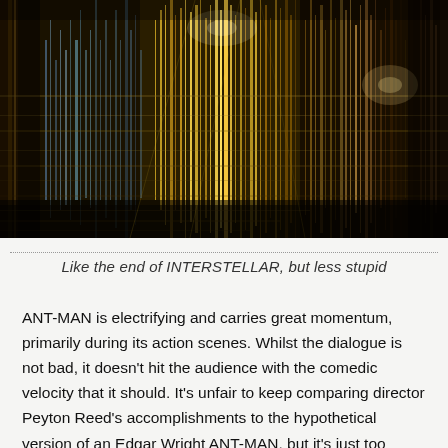[Figure (photo): Abstract motion-blur photograph of golden/metallic structures resembling stacked frames or architectural elements, with streaks of gold, brown, and teal light creating a kaleidoscopic, dimensional effect similar to a quantum realm visual.]
Like the end of INTERSTELLAR, but less stupid
ANT-MAN is electrifying and carries great momentum, primarily during its action scenes. Whilst the dialogue is not bad, it doesn't hit the audience with the comedic velocity that it should. It's unfair to keep comparing director Peyton Reed's accomplishments to the hypothetical version of an Edgar Wright ANT-MAN, but it's just too